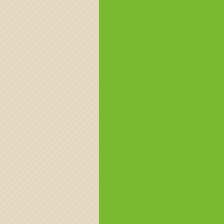chinese vi... sildenafil 2... female via...
Erinfoil
Em: 27/10...

what's the... generic ta... line
viagra sup...
Catrinawe...
Em: 28/10...

sister relie... free viagra... online can... what happ...